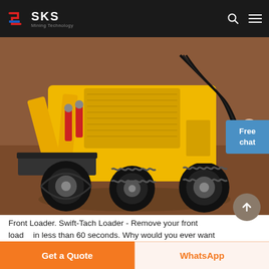SKS Mining Technology
[Figure (photo): Yellow front loader / skid steer machine with large black wheels and hydraulic front bucket attachment, photographed on a red/brown concrete floor in a workshop or factory setting]
Front Loader. Swift-Tach Loader - Remove your front loader in less than 60 seconds. Why would you ever want to remove your front end loader? One good reason is that removing the front
Get a Quote
WhatsApp